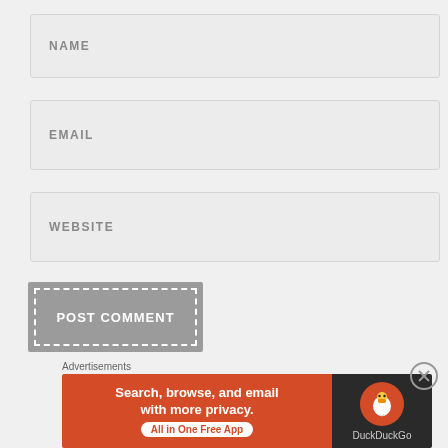NAME
EMAIL
WEBSITE
POST COMMENT
Notify me of new comments via email.
Notify me of new posts via email.
Advertisements
[Figure (other): DuckDuckGo advertisement banner: 'Search, browse, and email with more privacy. All in One Free App' with DuckDuckGo logo on dark background]